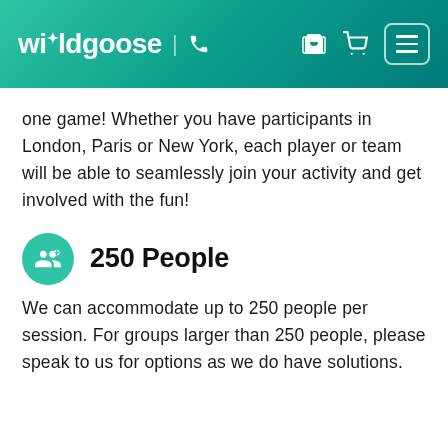wildgoose | [phone icon] [cart icon] [menu icon]
one game! Whether you have participants in London, Paris or New York, each player or team will be able to seamlessly join your activity and get involved with the fun!
250 People
We can accommodate up to 250 people per session. For groups larger than 250 people, please speak to us for options as we do have solutions.